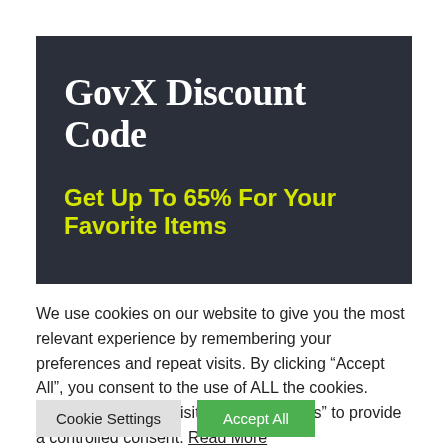[Figure (illustration): Dark navy banner with white bold serif text 'GovX Discount Code' and yellow bold sans-serif text 'Get Up To 65% For Your Favorite Items']
We use cookies on our website to give you the most relevant experience by remembering your preferences and repeat visits. By clicking “Accept All”, you consent to the use of ALL the cookies. However, you may visit "Cookie Settings" to provide a controlled consent. Read More
Cookie Settings
Accept All